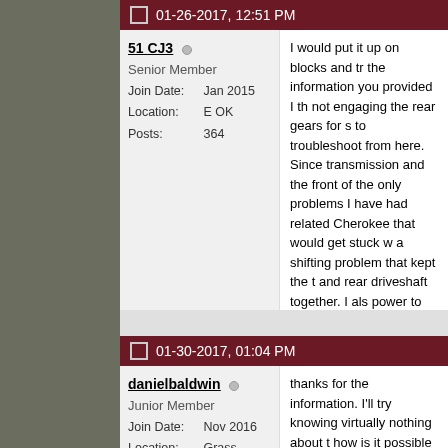01-26-2017, 12:51 PM
51 CJ3
Senior Member
Join Date: Jan 2015
Location: E OK
Posts: 364
I would put it up on blocks and tr the information you provided I th not engaging the rear gears for s to troubleshoot from here. Since transmission and the front of the only problems I have had related Cherokee that would get stuck w a shifting problem that kept the t and rear driveshaft together. I als power to the front wheels. The p front spider gears but everything working correctly until it got a loa out on the trail.
01-30-2017, 01:04 PM
danielbaldwin
Junior Member
Join Date: Nov 2016
Location: Grass Valley CA
Posts: 17
thanks for the information. I'll try knowing virtually nothing about t how is it possible that the transfe problem? Isn't the transfer case transmission and should not affe in 2-wheel drive???? Or, does th 'locking the front and rear drives help. Lost in Grass Valley. Dan B